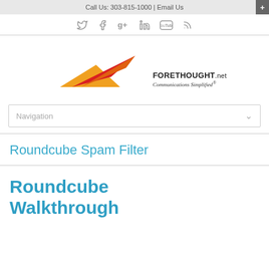Call Us: 303-815-1000 | Email Us
[Figure (logo): Social media icons: Twitter, Facebook, Google+, LinkedIn, YouTube, RSS]
[Figure (logo): Forethought.net logo with red and orange triangular swoosh graphic. Text: FORETHOUGHT.net Communications Simplified®]
Navigation
Roundcube Spam Filter
Roundcube Walkthrough